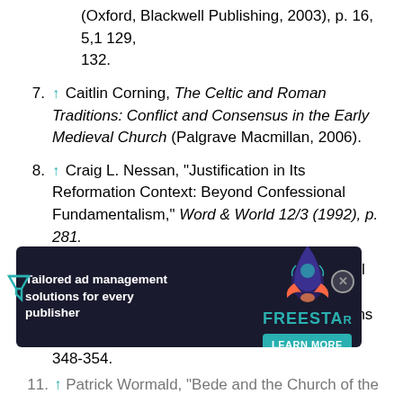(Oxford, Blackwell Publishing, 2003), p. 16, 5,1 129, 132.
7. ↑ Caitlin Corning, The Celtic and Roman Traditions: Conflict and Consensus in the Early Medieval Church (Palgrave Macmillan, 2006).
8. ↑ Craig L. Nessan, "Justification in Its Reformation Context: Beyond Confessional Fundamentalism," Word & World 12/3 (1992), p. 281.
9. ↑ Charles Plummer, "Excursus on the Paschal Controversy and Tonsure," in Venerablilis Baedae, Historiam Ecclesiasticam Gentis Anglorum (Oxford: University Press, 1975), p. 348-354.
10. ↑ Eric John, "The Social and Political Problems of the Early English Church," in Anglo-Saxon History: Basic Readings, ed. David A. E. Pelteret, A... Garland Publishing...
11. ↑ Patrick Wormald, "Bede and the Church of the...